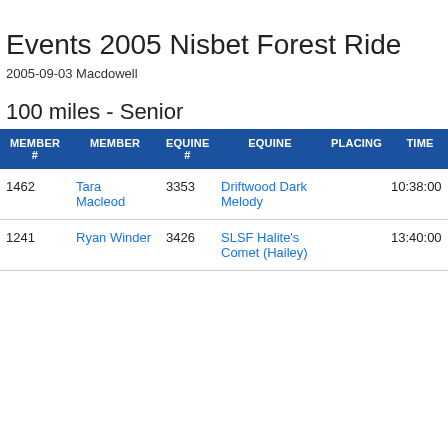Events 2005 Nisbet Forest Ride
2005-09-03 Macdowell
100 miles - Senior
| MEMBER # | MEMBER | EQUINE # | EQUINE | PLACING | TIME | WE |
| --- | --- | --- | --- | --- | --- | --- |
| 1462 | Tara Macleod | 3353 | Driftwood Dark Melody |  | 10:38:00 |  |
| 1241 | Ryan Winder | 3426 | SLSF Halite's Comet (Hailey) |  | 13:40:00 |  |